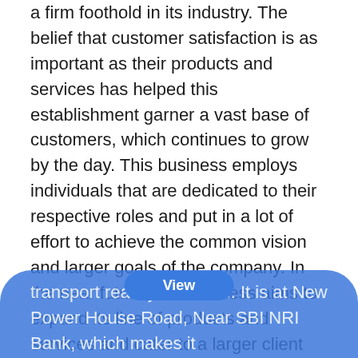a firm foothold in its industry. The belief that customer satisfaction is as important as their products and services has helped this establishment garner a vast base of customers, which continues to grow by the day. This business employs individuals that are dedicated to their respective roles and put in a lot of effort to achieve the common vision and larger goals of the company. In the near future, this business aims to expand its line of products and services and cater to a larger client base. In Jodhpur, this establishment occupies a prominent location in Shastri Nagar. It is an effortless task in commuting to this establishment as there are various modes of transport readily available. It is at New Power House Road, Near SBI NRI Bank, which makes it